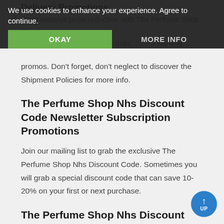Delivery Promotions
Grab massive price reduction with The Perfume Shop Nhs 2 free delivery discounts and promos. Don't forget, don't neglect to discover the Shipment Policies for more info.
The Perfume Shop Nhs Discount Code Newsletter Subscription Promotions
Join our mailing list to grab the exclusive The Perfume Shop Nhs Discount Code. Sometimes you will grab a special discount code that can save 10-20% on your first or next purchase.
The Perfume Shop Nhs Discount Code Return & Refund Policies
Discover the Return & Refund Policies to testify if the products purchased with The Perfume Shop Nhs Discount Code are liable for a refund if returned within 30 days of purchase.